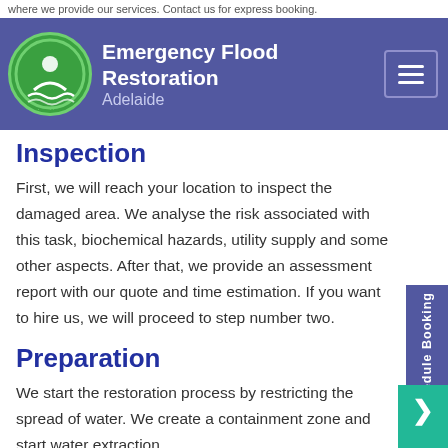where we provide our services. Contact us for express booking.
Emergency Flood Restoration Adelaide
Inspection
First, we will reach your location to inspect the damaged area. We analyse the risk associated with this task, biochemical hazards, utility supply and some other aspects. After that, we provide an assessment report with our quote and time estimation. If you want to hire us, we will proceed to step number two.
Preparation
We start the restoration process by restricting the spread of water. We create a containment zone and start water extraction.
Water Extraction